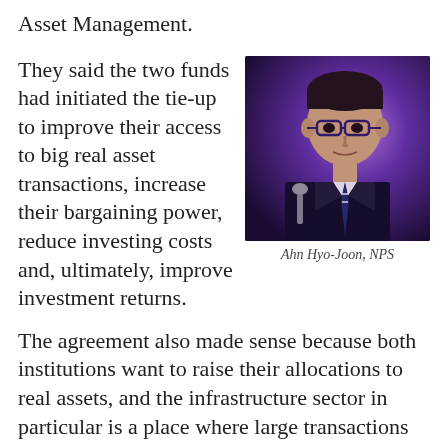Asset Management.
They said the two funds had initiated the tie-up to improve their access to big real asset transactions, increase their bargaining power, reduce investing costs and, ultimately, improve investment returns.
[Figure (photo): Photo of Ahn Hyo-Joon, NPS, a man in a dark suit and striped tie speaking at a microphone in a purple-lit environment]
Ahn Hyo-Joon, NPS
The agreement also made sense because both institutions want to raise their allocations to real assets, and the infrastructure sector in particular is a place where large transactions are done.
“We’re specifically looking for mega deals, typically $1